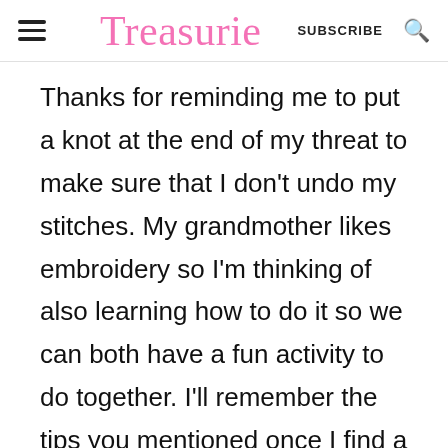Treasurie  SUBSCRIBE
Thanks for reminding me to put a knot at the end of my threat to make sure that I don't undo my stitches. My grandmother likes embroidery so I'm thinking of also learning how to do it so we can both have a fun activity to do together. I'll remember the tips you mentioned once I find a nice hand-stitch embroidery pattern that I like.